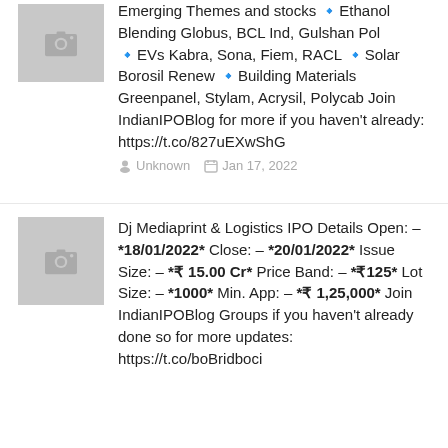Emerging Themes and stocks 🔹Ethanol Blending Globus, BCL Ind, Gulshan Pol 🔹EVs Kabra, Sona, Fiem, RACL 🔹Solar Borosil Renew 🔹Building Materials Greenpanel, Stylam, Acrysil, Polycab Join IndianIPOBlog for more if you haven't already: https://t.co/827uEXwShG
Unknown  Jan 17, 2022
Dj Mediaprint & Logistics IPO Details Open: – *18/01/2022* Close: – *20/01/2022* Issue Size: – *₹ 15.00 Cr* Price Band: – *₹125* Lot Size: – *1000* Min. App: – *₹ 1,25,000* Join IndianIPOBlog Groups if you haven't already done so for more updates: https://t.co/boBridboci